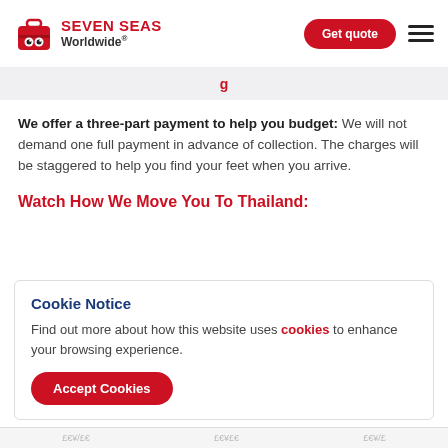[Figure (logo): Seven Seas Worldwide logo with red suitcase mascot icon and company name]
Get quote
We offer a three-part payment to help you budget: We will not demand one full payment in advance of collection. The charges will be staggered to help you find your feet when you arrive.
Watch How We Move You To Thailand:
Cookie Notice
Find out more about how this website uses cookies to enhance your browsing experience.
Accept Cookies